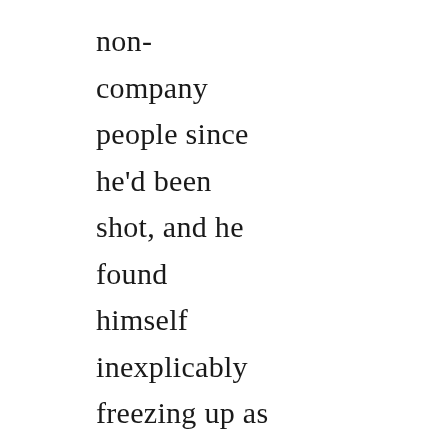non-company people since he'd been shot, and he found himself inexplicably freezing up as Jules turned at gestured to him. Both men stared at him expectantly,